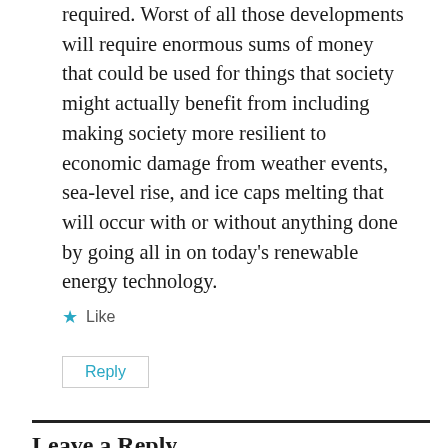required. Worst of all those developments will require enormous sums of money that could be used for things that society might actually benefit from including making society more resilient to economic damage from weather events, sea-level rise, and ice caps melting that will occur with or without anything done by going all in on today's renewable energy technology.
★ Like
Reply
Leave a Reply